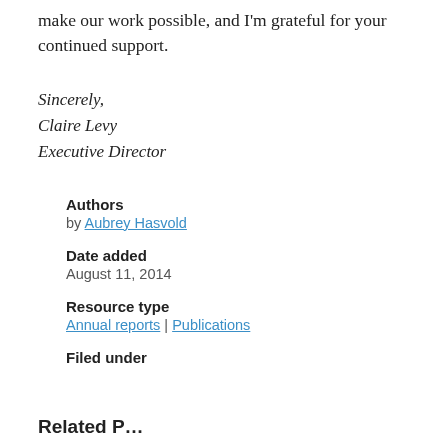make our work possible, and I'm grateful for your continued support.
Sincerely,
Claire Levy
Executive Director
Authors
by Aubrey Hasvold
Date added
August 11, 2014
Resource type
Annual reports | Publications
Filed under
Related P…